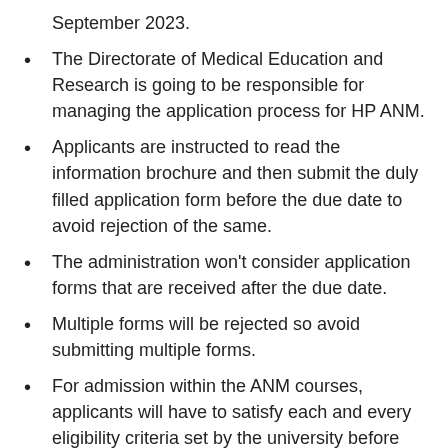September 2023.
The Directorate of Medical Education and Research is going to be responsible for managing the application process for HP ANM.
Applicants are instructed to read the information brochure and then submit the duly filled application form before the due date to avoid rejection of the same.
The administration won't consider application forms that are received after the due date.
Multiple forms will be rejected so avoid submitting multiple forms.
For admission within the ANM courses, applicants will have to satisfy each and every eligibility criteria set by the university before filing the application form.
Applicants will have to fill the application form